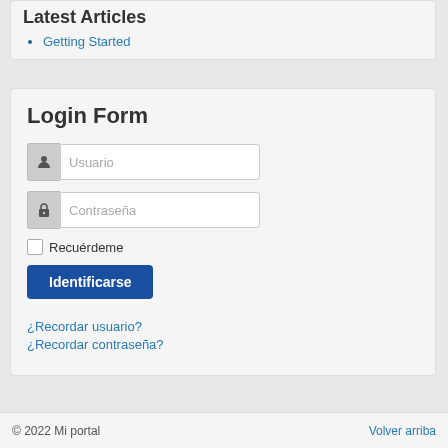Latest Articles
Getting Started
Login Form
[Figure (other): Login form with username and password fields, remember me checkbox, Identificarse button, and recover links]
¿Recordar usuario?
¿Recordar contraseña?
© 2022 Mi portal    Volver arriba